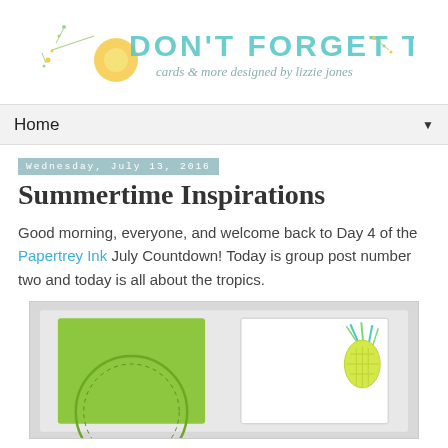DON'T FORGET TO WRITE — cards & more designed by lizzie jones
Home
Wednesday, July 13, 2016
Summertime Inspirations
Good morning, everyone, and welcome back to Day 4 of the Papertrey Ink July Countdown! Today is group post number two and today is all about the tropics.
[Figure (photo): Two handmade cards on a gray background. Left card is lime green with a circular debossed design. Right card is white with a pineapple stamp in blue/green on the upper right corner.]